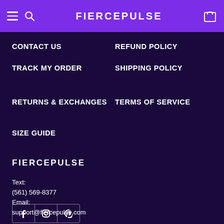FIERCEPULSE
CONTACT US
REFUND POLICY
TRACK MY ORDER
SHIPPING POLICY
RETURNS & EXCHANGES
TERMS OF SERVICE
SIZE GUIDE
FIERCEPULSE
Text:
(561) 569-8377
Email:
support@fiercepulse.com
[Figure (other): Social media icons row: Facebook, Instagram, Pinterest]